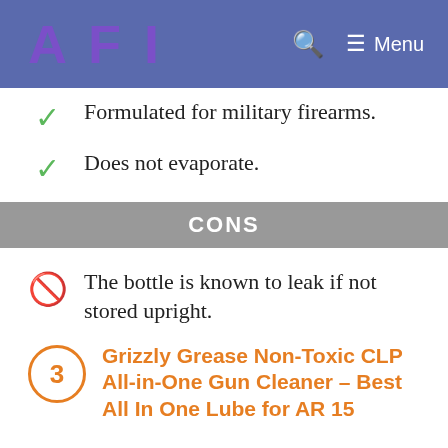AFI   Menu
Formulated for military firearms.
Does not evaporate.
CONS
The bottle is known to leak if not stored upright.
3  Grizzly Grease Non-Toxic CLP All-in-One Gun Cleaner – Best All In One Lube for AR 15